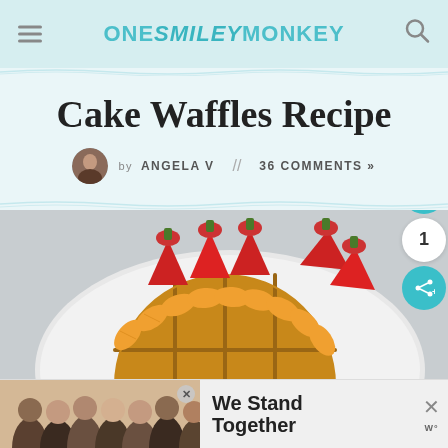ONE SMILEY MONKEY
Cake Waffles Recipe
by ANGELA V // 36 COMMENTS »
[Figure (photo): A round golden waffle on a white plate, topped and surrounded by strawberries and mandarin orange segments arranged decoratively around the waffle.]
[Figure (screenshot): Advertisement banner showing a group of people with arms around each other and text 'We Stand Together']